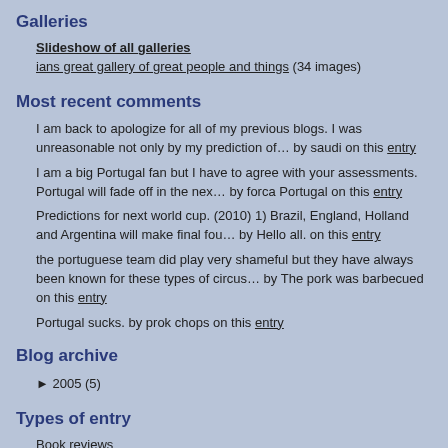Galleries
Slideshow of all galleries
ians great gallery of great people and things (34 images)
Most recent comments
I am back to apologize for all of my previous blogs. I was unreasonable not only by my prediction of… by saudi on this entry
I am a big Portugal fan but I have to agree with your assessments. Portugal will fade off in the nex… by forca Portugal on this entry
Predictions for next world cup. (2010) 1) Brazil, England, Holland and Argentina will make final fou… by Hello all. on this entry
the portuguese team did play very shameful but they have always been known for these types of circus… by The pork was barbecued on this entry
Portugal sucks. by prok chops on this entry
Blog archive
► 2005 (5)
Types of entry
Book reviews
DVD reviews